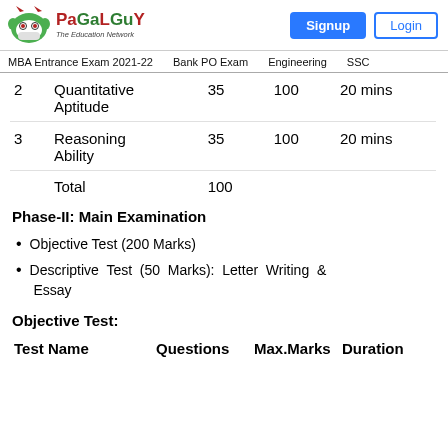PaGaLGuY - The Education Network | Signup | Login
MBA Entrance Exam 2021-22  Bank PO Exam  Engineering  SSC
|  | Test Name | Questions | Max.Marks | Duration |
| --- | --- | --- | --- | --- |
| 2 | Quantitative Aptitude | 35 | 100 | 20 mins |
| 3 | Reasoning Ability | 35 | 100 | 20 mins |
|  | Total | 100 |  |  |
Phase-II: Main Examination
Objective Test (200 Marks)
Descriptive Test (50 Marks): Letter Writing & Essay
Objective Test:
| Test Name | Questions | Max.Marks | Duration |
| --- | --- | --- | --- |